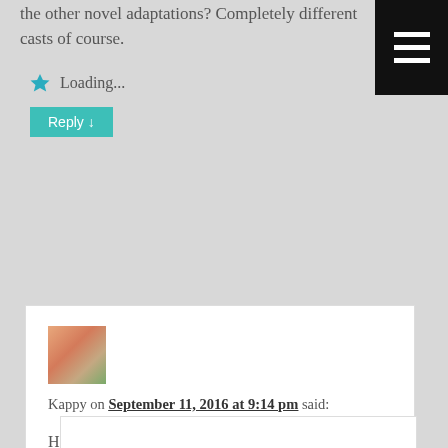the other novel adaptations? Completely different casts of course.
Loading...
Reply ↓
[Figure (photo): User avatar photo of Kappy showing a person with red/auburn hair]
Kappy on September 11, 2016 at 9:14 pm said:
Hehe, they are sitting around a pot and pulling ideas (aka authors) out from it. Lol.
Loading...
Reply ↓